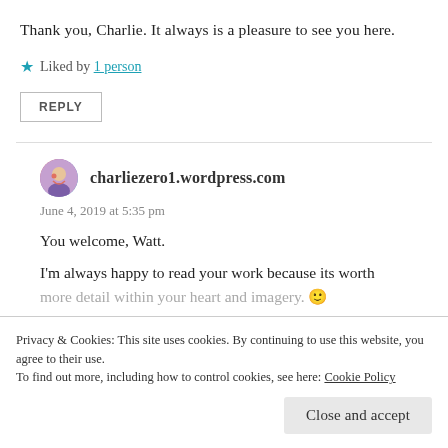Thank you, Charlie. It always is a pleasure to see you here.
★ Liked by 1 person
REPLY
charliezero1.wordpress.com
June 4, 2019 at 5:35 pm
You welcome, Watt.
I'm always happy to read your work because its worth more detail within your heart and imagery. 🙂
Privacy & Cookies: This site uses cookies. By continuing to use this website, you agree to their use.
To find out more, including how to control cookies, see here: Cookie Policy
Close and accept